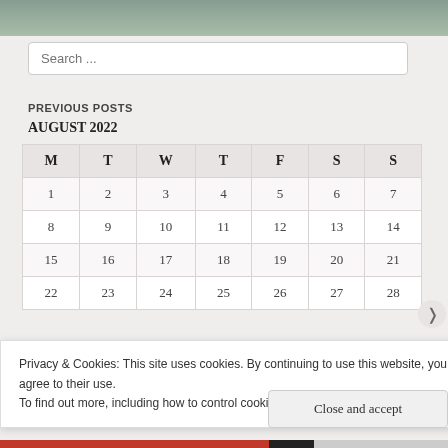Search ...
PREVIOUS POSTS
AUGUST 2022
| M | T | W | T | F | S | S |
| --- | --- | --- | --- | --- | --- | --- |
| 1 | 2 | 3 | 4 | 5 | 6 | 7 |
| 8 | 9 | 10 | 11 | 12 | 13 | 14 |
| 15 | 16 | 17 | 18 | 19 | 20 | 21 |
| 22 | 23 | 24 | 25 | 26 | 27 | 28 |
Privacy & Cookies: This site uses cookies. By continuing to use this website, you agree to their use.
To find out more, including how to control cookies, see here: Cookie Policy
Close and accept